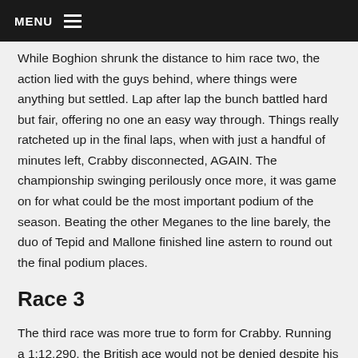MENU
While Boghion shrunk the distance to him race two, the action lied with the guys behind, where things were anything but settled. Lap after lap the bunch battled hard but fair, offering no one an easy way through. Things really ratcheted up in the final laps, when with just a handful of minutes left, Crabby disconnected, AGAIN. The championship swinging perilously once more, it was game on for what could be the most important podium of the season. Beating the other Meganes to the line barely, the duo of Tepid and Mallone finished line astern to round out the final podium places.
Race 3
The third race was more true to form for Crabby. Running a 1:12.290, the British ace would not be denied despite his